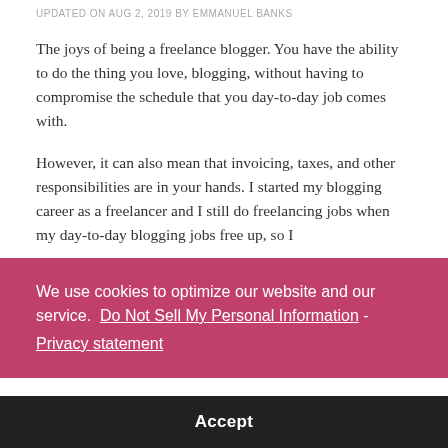UPDATED ON AUG 2, 2019 BY EMMANUEL BANKS
The joys of being a freelance blogger. You have the ability to do the thing you love, blogging, without having to compromise the schedule that you day-to-day job comes with.
However, it can also mean that invoicing, taxes, and other responsibilities are in your hands. I started my blogging career as a freelancer and I still do freelancing jobs when my day-to-day blogging jobs free up, so I look too hard about the responsibilities that they...
We use cookies to optimize our website and our service.  Do Not Sell My Personal Information - Privacy statement
Writing In Peace
As a freelancer, you are given tight deadlines many